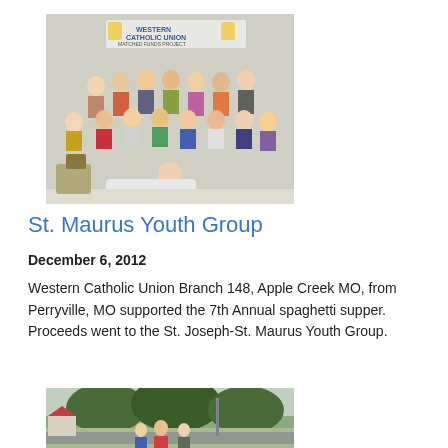[Figure (photo): Group photo of St. Maurus Youth Group members posing indoors under a Western Catholic Union Matched Funds Project banner. Multiple teens and adults arranged in rows, with one person lying on the floor in front.]
St. Maurus Youth Group
December 6, 2012
Western Catholic Union Branch 148, Apple Creek MO, from Perryville, MO supported the 7th Annual spaghetti supper. Proceeds went to the St. Joseph-St. Maurus Youth Group.
[Figure (photo): Outdoor photo showing people near a street or parade setting with trees in the background.]